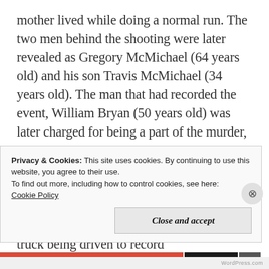mother lived while doing a normal run. The two men behind the shooting were later revealed as Gregory McMichael (64 years old) and his son Travis McMichael (34 years old). The man that had recorded the event, William Bryan (50 years old) was later charged for being a part of the murder, specifically due to him recording it and not calling the police or helping Ahmaud. William was a neighbor during the events of Ahmaud being chased down by the McMichael's and had decided to follow the truck being driven to record
Privacy & Cookies: This site uses cookies. By continuing to use this website, you agree to their use.
To find out more, including how to control cookies, see here: Cookie Policy
Close and accept